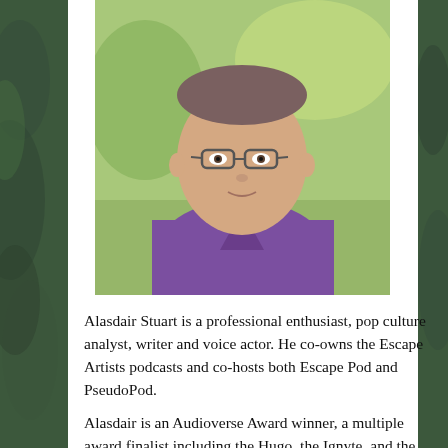[Figure (photo): Headshot of Alasdair Stuart, a man wearing glasses and a purple v-neck t-shirt, photographed outdoors against a blurred green background.]
Alasdair Stuart is a professional enthusiast, pop culture analyst, writer and voice actor. He co-owns the Escape Artists podcasts and co-hosts both Escape Pod and PseudoPod.
Alasdair is an Audioverse Award winner, a multiple award finalist including the Hugo, the Ignyte, and the BFA, and has won the Karl Edward Wagner